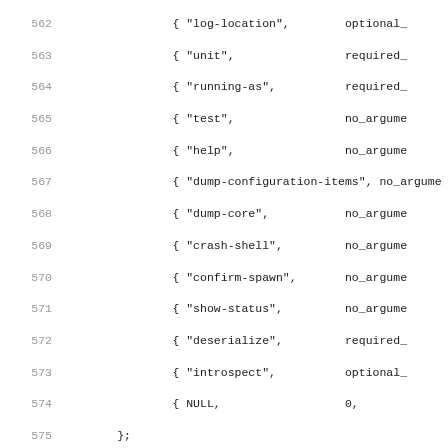Source code listing, lines 562–594, showing C code with option table entries and getopt_long loop with switch statement.